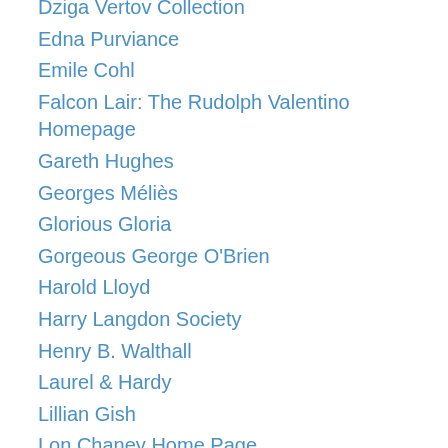Dziga Vertov Collection
Edna Purviance
Emile Cohl
Falcon Lair: The Rudolph Valentino Homepage
Gareth Hughes
Georges Méliès
Glorious Gloria
Gorgeous George O'Brien
Harold Lloyd
Harry Langdon Society
Henry B. Walthall
Laurel & Hardy
Lillian Gish
Lon Chaney Home Page
Louise Brooks Society
Madcap Mabel
Martin and Osa Johnson Safari Museum
Mary Pickford Institute for Film Education
Mary-Miles-Minter.com
Max Linder